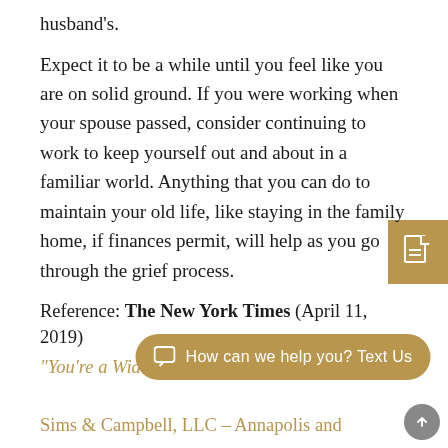husband's.
Expect it to be a while until you feel like you are on solid ground. If you were working when your spouse passed, consider continuing to work to keep yourself out and about in a familiar world. Anything that you can do to maintain your old life, like staying in the family home, if finances permit, will help as you go through the grief process.
Reference: The New York Times (April 11, 2019)
“You’re a Widow, Now What?”
Sims & Campbell, LLC – Annapolis and